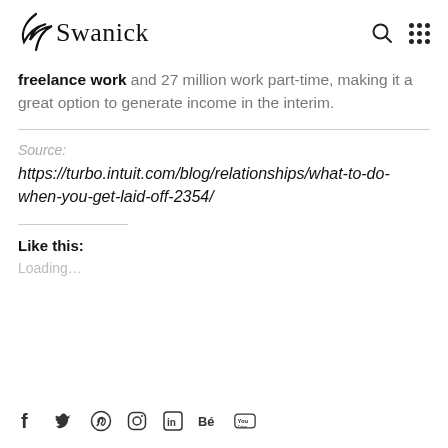Swanick
freelance work and 27 million work part-time, making it a great option to generate income in the interim.
Source:
https://turbo.intuit.com/blog/relationships/what-to-do-when-you-get-laid-off-2354/
Like this:
Loading...
Social media icons: Facebook, Twitter, Pinterest, Instagram, LinkedIn, Behance, YouTube